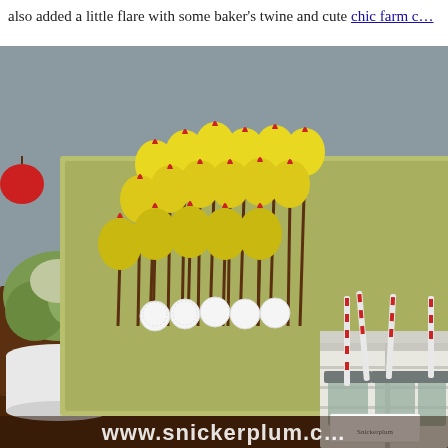also added a little flare with some baker's twine and cute chic farm c…
[Figure (photo): Party dessert table scene featuring yellow chick-shaped cake pops on sticks displayed in green damask-patterned boxes, mason jars with metal lids and red-and-white striped paper straws in a white wooden crate, on a brown tablecloth. A white potted plant is on the left. A Snickerplum logo card is visible on the crate. The website www.snickerplum.c... is shown at the bottom.]